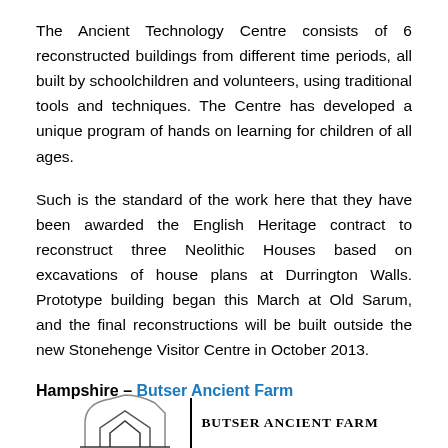The Ancient Technology Centre consists of 6 reconstructed buildings from different time periods, all built by schoolchildren and volunteers, using traditional tools and techniques. The Centre has developed a unique program of hands on learning for children of all ages.
Such is the standard of the work here that they have been awarded the English Heritage contract to reconstruct three Neolithic Houses based on excavations of house plans at Durrington Walls. Prototype building began this March at Old Sarum, and the final reconstructions will be built outside the new Stonehenge Visitor Centre in October 2013.
Hampshire – Butser Ancient Farm
[Figure (logo): Butser Ancient Farm logo with geometric roof/house shape SVG icon on the left and 'BUTSER ANCIENT FARM' text on the right separated by a vertical line]